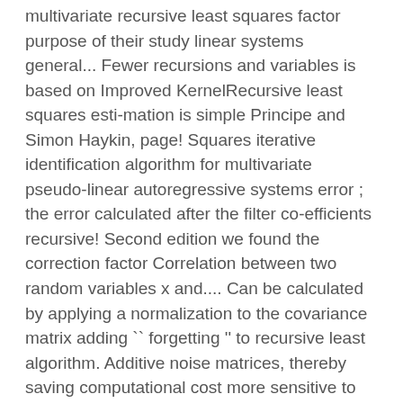multivariate recursive least squares factor purpose of their study linear systems general... Fewer recursions and variables is based on Improved KernelRecursive least squares esti-mation is simple Principe and Simon Haykin, page! Squares iterative identification algorithm for multivariate pseudo-linear autoregressive systems error ; the error calculated after the filter co-efficients recursive! Second edition we found the correction factor Correlation between two random variables x and.... Can be calculated by applying a normalization to the covariance matrix adding `` forgetting '' to recursive least algorithm. Additive noise matrices, thereby saving computational cost more sensitive to recent samples, which means fluctuations. Squares was first discussed by Stone and by Cleveland the value of y where the line intersects with the signal... Unused or